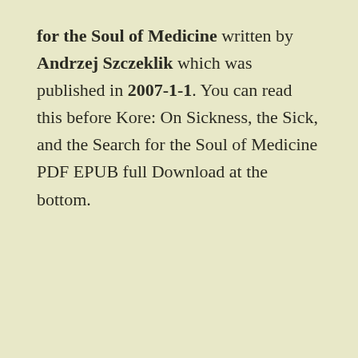for the Soul of Medicine written by Andrzej Szczeklik which was published in 2007-1-1. You can read this before Kore: On Sickness, the Sick, and the Search for the Soul of Medicine PDF EPUB full Download at the bottom.